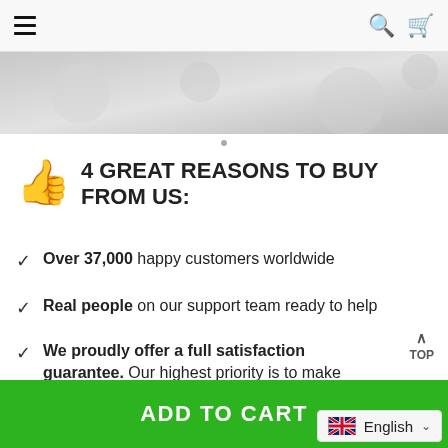Navigation bar with hamburger menu, search icon, and cart icon
[Figure (photo): Gray decorative hero banner image strip with subtle patterns]
4 GREAT REASONS TO BUY FROM US:
Over 37,000 happy customers worldwide
Real people on our support team ready to help
We proudly offer a full satisfaction guarantee. Our highest priority is to make you happy, so every order comes with a 60-day money back guarantee!
[Figure (screenshot): ADD TO CART green button at the bottom of the page]
[Figure (screenshot): English language selector with UK flag at the bottom right]